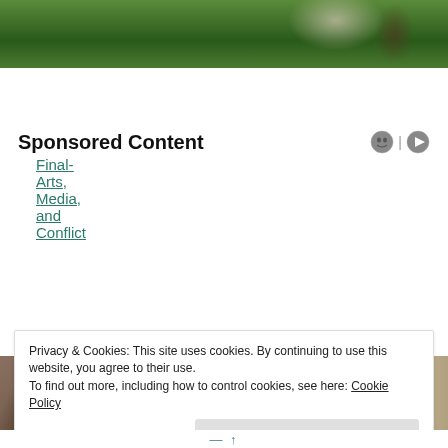[Figure (photo): Blurred outdoor photo showing green foliage background with partial view of a person at the right edge]
Final-Arts, Media, and Conflict
Sponsored Content
[Figure (photo): Close-up photo of a person wearing dark sunglasses and a dark cap, with a child wearing a pink bow visible behind them, outdoor background]
Privacy & Cookies: This site uses cookies. By continuing to use this website, you agree to their use.
To find out more, including how to control cookies, see here: Cookie Policy
Close and accept